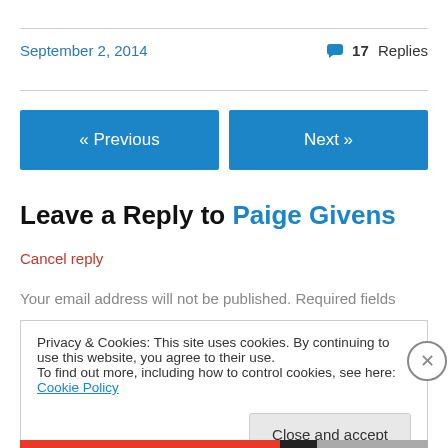September 2, 2014
17 Replies
« Previous
Next »
Leave a Reply to Paige Givens
Cancel reply
Your email address will not be published. Required fields
Privacy & Cookies: This site uses cookies. By continuing to use this website, you agree to their use.
To find out more, including how to control cookies, see here: Cookie Policy
Close and accept